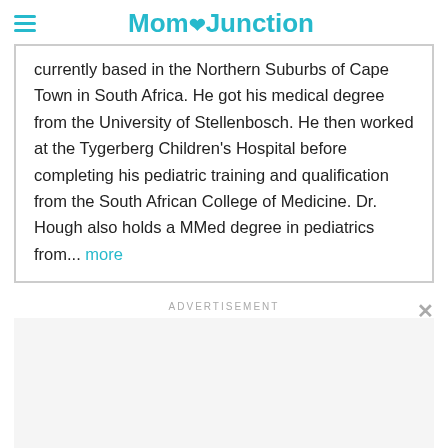Mom Junction
currently based in the Northern Suburbs of Cape Town in South Africa. He got his medical degree from the University of Stellenbosch. He then worked at the Tygerberg Children's Hospital before completing his pediatric training and qualification from the South African College of Medicine. Dr. Hough also holds a MMed degree in pediatrics from... more
ADVERTISEMENT